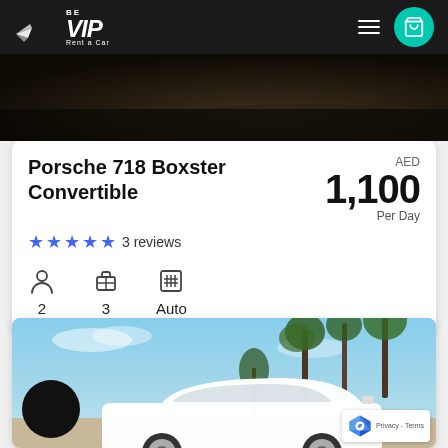[Figure (screenshot): BeVIP Rent a Car website navigation bar with logo, hamburger menu, and teal cart icon on dark background]
[Figure (photo): Dark interior/dashboard partial shot of a luxury car in a dimly lit background]
Porsche 718 Boxster Convertible
AED 1,100 Per Day
3 reviews
2
3
Auto
[Figure (photo): White Porsche Cayenne SUV parked outdoors with palm trees in background under blue sky]
Privacy - Terms